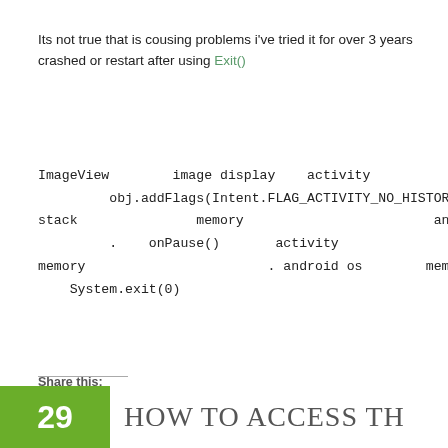Its not true that is cousing problems i've tried it for over 3 years crashed or restart after using Exit()
ImageView   image display   activity   out of stack   memory   android studio monitor . onPause() activity finish() a memory . android os memory System.exit(0)
obj.addFlags(Intent.FLAG_ACTIVITY_NO_HISTORY)
Share this:
[Figure (infographic): Six social sharing icon circles: print (grey), Facebook (dark blue), Tumblr (dark blue), Twitter (light blue), LinkedIn (blue), Google+ (red)]
29 HOW TO ACCESS TH